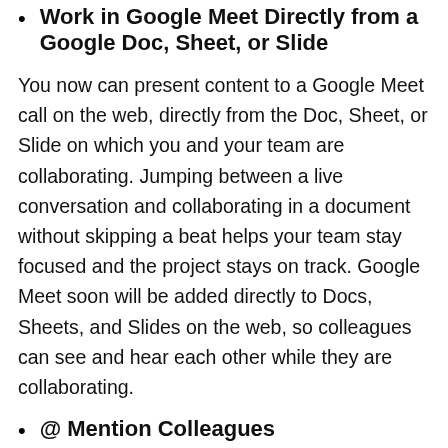Work in Google Meet Directly from a Google Doc, Sheet, or Slide
You now can present content to a Google Meet call on the web, directly from the Doc, Sheet, or Slide on which you and your team are collaborating. Jumping between a live conversation and collaborating in a document without skipping a beat helps your team stay focused and the project stays on track. Google Meet soon will be added directly to Docs, Sheets, and Slides on the web, so colleagues can see and hear each other while they are collaborating.
@ Mention Colleagues
When you @-mention someone in a document, a smart chip displays additional information, such as